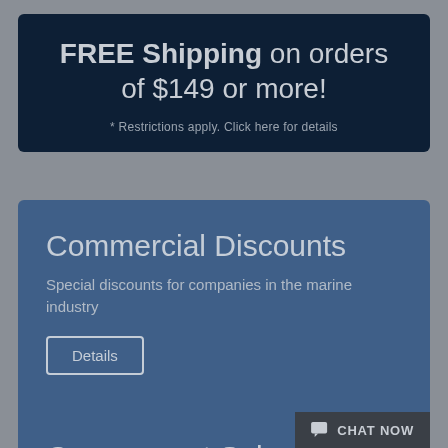FREE Shipping on orders of $149 or more!
* Restrictions apply. Click here for details
Commercial Discounts
Special discounts for companies in the marine industry
Details
Government Sales
Discounts for federal and most state and municipal agencies